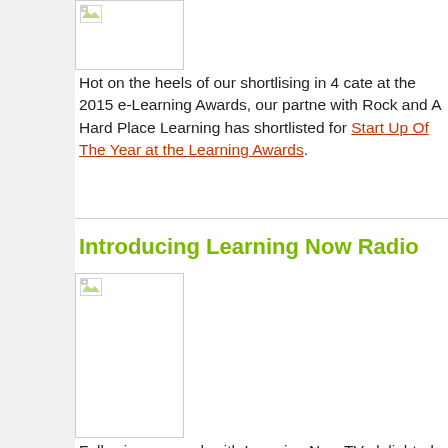[Figure (photo): Small image placeholder box at top of content area]
Hot on the heels of our shortlising in 4 categories at the 2015 e-Learning Awards, our partnership with Rock and A Hard Place Learning has been shortlisted for Start Up Of The Year at the Learning Awards.
Introducing Learning Now Radio
[Figure (photo): Image placeholder box for Learning Now Radio section]
Following our work with Learning Now TV, we are delighted to announce that Lisa Minogue-White has been asked to host Learning Now Radio.
Already 4 episodes in, she has been in conversation with Mike Collins at DPG PLC, David Kelly from...